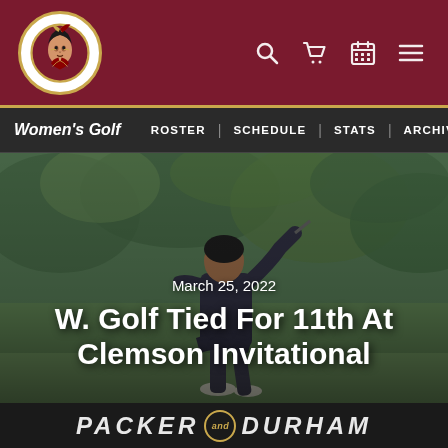[Figure (logo): Florida State University Seminoles logo - stylized Native American head in circle on dark maroon header bar with navigation icons]
Women's Golf | ROSTER | SCHEDULE | STATS | ARCHIVES
[Figure (photo): Golf player mid-swing on green course, legs visible, dark outfit, blurred green foliage background]
March 25, 2022
W. Golf Tied For 11th At Clemson Invitational
[Figure (screenshot): PACKER AND DURHAM banner with thumbnail images below showing TV show content]